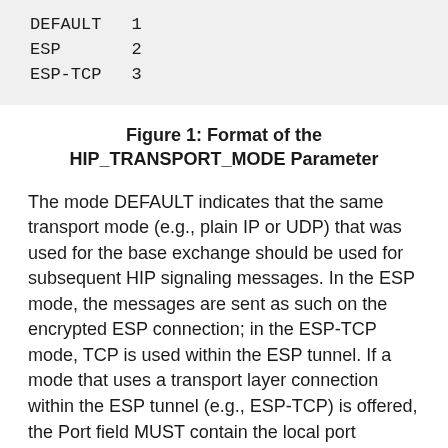| DEFAULT | 1 |
| ESP | 2 |
| ESP-TCP | 3 |
Figure 1: Format of the HIP_TRANSPORT_MODE Parameter
The mode DEFAULT indicates that the same transport mode (e.g., plain IP or UDP) that was used for the base exchange should be used for subsequent HIP signaling messages. In the ESP mode, the messages are sent as such on the encrypted ESP connection; in the ESP-TCP mode, TCP is used within the ESP tunnel. If a mode that uses a transport layer connection within the ESP tunnel (e.g., ESP-TCP) is offered, the Port field MUST contain the local port number the host will use for the connection. If none of the modes utilize a transport layer protocol, the Port field SHOULD be set to zero when the parameter is sent and ignored when received. The Port and Mode ID fields are encoded as unsigned integers using network byte order.